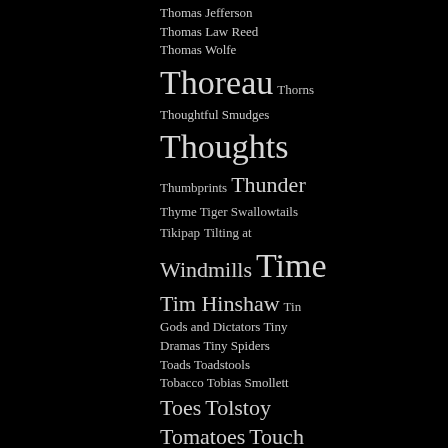Thomas Jefferson
Thomas Law Reed
Thomas Wolfe
Thoreau Thorns
Thoughtful Smudges
Thoughts
Thumbprints Thunder
Thyme Tiger Swallowtails
Tikipap Tilting at Windmills Time
Tim Hinshaw Tin
Gods and Dictators Tiny
Dramas Tiny Spiders
Toads Toadstools
Tobacco Tobias Smollett
Toes Tolstoy
Tomatoes Touch
Towhees Toy
Soldiers Trade Policy
Tradition
Tragedies Trails
Trains
Transcendalists